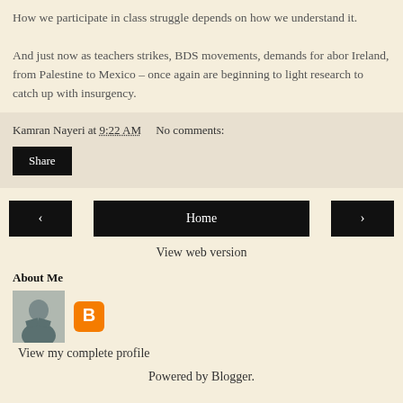How we participate in class struggle depends on how we understand it. And just now as teachers strikes, BDS movements, demands for abortion rights in Ireland, from Palestine to Mexico – once again are beginning to light the way, it is time for research to catch up with insurgency.
Kamran Nayeri at 9:22 AM   No comments:
Share
‹ | Home | ›
View web version
About Me
[Figure (photo): Profile photo of person with arms crossed, and Blogger icon]
View my complete profile
Powered by Blogger.